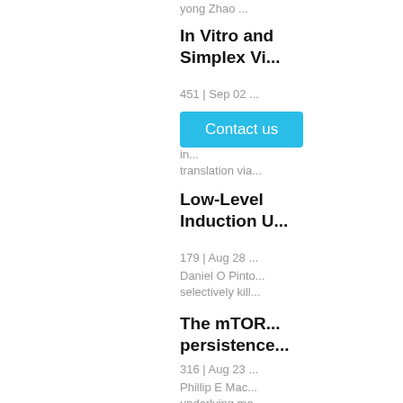yong Zhao ...
In Vitro and
Simplex Vi...
451 | Sep 02 ...
[Figure (other): Contact us button (cyan/blue rounded rectangle)]
in...
translation via...
Low-Level
Induction U...
179 | Aug 28 ...
Daniel O Pinto...
selectively kill...
The mTOR...
persistence...
316 | Aug 23 ...
Phillip E Mac...
underlying me...